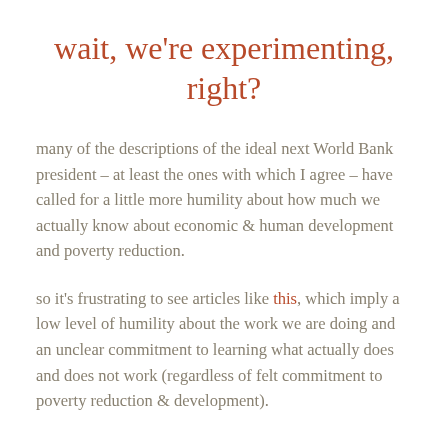wait, we're experimenting, right?
many of the descriptions of the ideal next World Bank president – at least the ones with which I agree – have called for a little more humility about how much we actually know about economic & human development and poverty reduction.
so it's frustrating to see articles like this, which imply a low level of humility about the work we are doing and an unclear commitment to learning what actually does and does not work (regardless of felt commitment to poverty reduction & development).